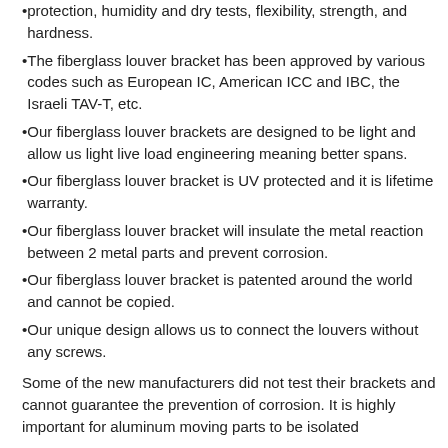protection, humidity and dry tests, flexibility, strength, and hardness.
The fiberglass louver bracket has been approved by various codes such as European IC, American ICC and IBC, the Israeli TAV-T, etc.
Our fiberglass louver brackets are designed to be light and allow us light live load engineering meaning better spans.
Our fiberglass louver bracket is UV protected and it is lifetime warranty.
Our fiberglass louver bracket will insulate the metal reaction between 2 metal parts and prevent corrosion.
Our fiberglass louver bracket is patented around the world and cannot be copied.
Our unique design allows us to connect the louvers without any screws.
Some of the new manufacturers did not test their brackets and cannot guarantee the prevention of corrosion.  It is highly important for aluminum moving parts to be isolated